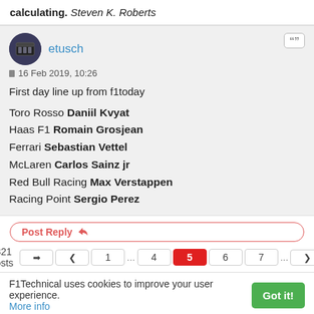calculating. Steven K. Roberts
etusch
16 Feb 2019, 10:26

First day line up from f1today

Toro Rosso Daniil Kvyat
Haas F1 Romain Grosjean
Ferrari Sebastian Vettel
McLaren Carlos Sainz jr
Red Bull Racing Max Verstappen
Racing Point Sergio Perez
Post Reply
2321 posts  ← 1 ... 4  5  6  7  ... →
F1Technical uses cookies to improve your user experience.
More info
Got it!